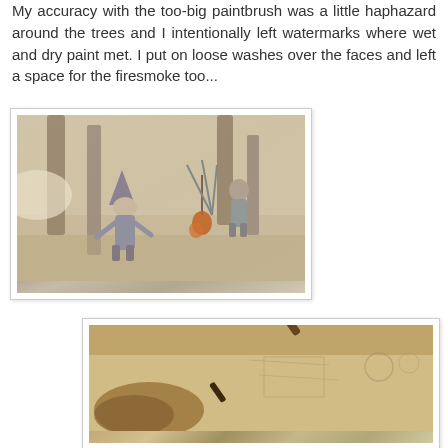My accuracy with the too-big paintbrush was a little haphazard around the trees and I intentionally left watermarks where wet and dry paint met. I put on loose washes over the faces and left a space for the firesmoke too...
[Figure (illustration): Watercolor illustration in progress showing figures in a forest scene with trees, a child character with a pointed hat, and another figure near a campfire, with warm sepia tones]
[Figure (photo): Close-up photograph of a paintbrush being used on a drawing/illustration, with a paint palette visible, warm brown tones]